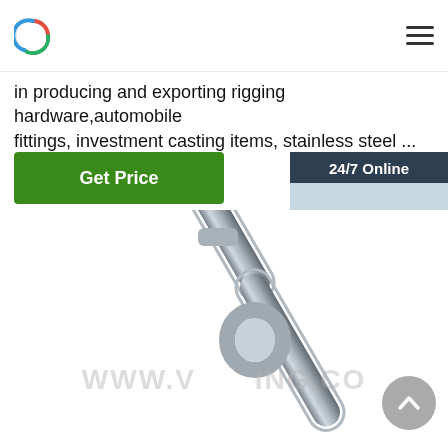[Figure (logo): Circular logo with red/green/blue ring segments, top-left header]
[Figure (infographic): Hamburger menu icon (three horizontal bars), top-right header]
in producing and exporting rigging hardware,automobile fittings, investment casting items, stainless steel ...
[Figure (other): Green 'Get Price' button]
[Figure (infographic): 24/7 Online chat widget with agent photo, 'Click here for free chat !' text, and orange QUOTATION button]
[Figure (photo): Close-up photo of stainless steel chain links]
WWW.V...ING.CO
[Figure (other): Grey circular scroll-to-top button with upward chevron]